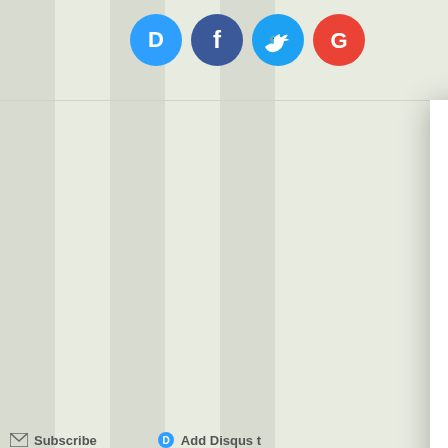[Figure (screenshot): Background webpage showing social sharing icons (Disqus, Facebook, Twitter, Google) and a partially visible Name input field, with a columnar green-grey striped background. A Subscribe and Add Disqus action bar is partially visible at the bottom.]
Try our newsletter – it’s totally free and you get all the benefits.
Enter your email address to be the first to see new blog posts and awesome news directly in your inbox!
Join 410 other subscribers.
Email Address
Oh yeah! Sign Me Up
You can easily unsubscribe again if you want.